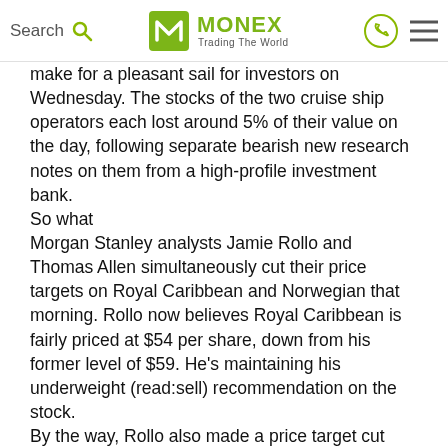Search | MONEX Trading The World
make for a pleasant sail for investors on Wednesday. The stocks of the two cruise ship operators each lost around 5% of their value on the day, following separate bearish new research notes on them from a high-profile investment bank.
So what
Morgan Stanley analysts Jamie Rollo and Thomas Allen simultaneously cut their price targets on Royal Caribbean and Norwegian that morning. Rollo now believes Royal Caribbean is fairly priced at $54 per share, down from his former level of $59. He's maintaining his underweight (read:sell) recommendation on the stock.
By the way, Rollo also made a price target cut and maintained his underweight designation on Royal Caribbean and Norwegian peer Carnival early Wednesday.
As for Norwegian, Allen's new price target on the cruise line stock is $14 (previously $18). Like